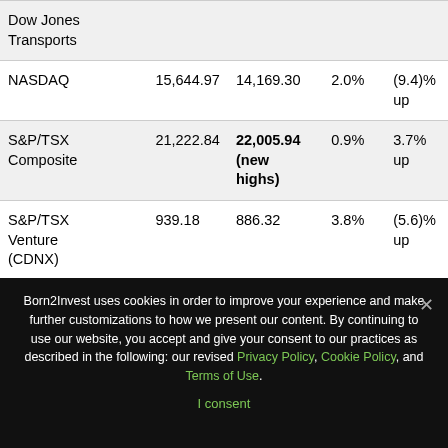| Index | Value 1 | Value 2 | Change % | Direction |
| --- | --- | --- | --- | --- |
| Dow Jones Transports |  |  |  |  |
| NASDAQ | 15,644.97 | 14,169.30 | 2.0% | (9.4)%  up |
| S&P/TSX Composite | 21,222.84 | 22,005.94 (new highs) | 0.9% | 3.7%  up |
| S&P/TSX Venture (CDNX) | 939.18 | 886.32 | 3.8% | (5.6)%  up |
| S&P 600 | 1,401.71 | 1,331.02 | (0.6)% | (5.0)%  up |
| MSCI World... | 3,054.17 | 3,819.88 | 0.7% | (6.4)% |
Born2Invest uses cookies in order to improve your experience and make further customizations to how we present our content. By continuing to use our website, you accept and give your consent to our practices as described in the following: our revised Privacy Policy, Cookie Policy, and Terms of Use.
I consent